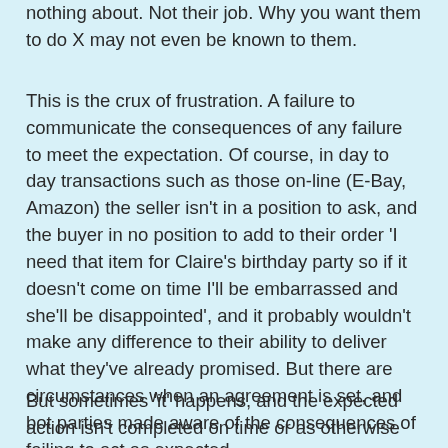nothing about. Not their job. Why you want them to do X may not even be known to them.
This is the crux of frustration. A failure to communicate the consequences of any failure to meet the expectation. Of course, in day to day transactions such as those on-line (E-Bay, Amazon) the seller isn't in a position to ask, and the buyer in no position to add to their order 'I need that item for Claire's birthday party so if it doesn't come on time I'll be embarrassed and she'll be disappointed', and it probably wouldn't make any difference to their ability to deliver what they've already promised. But there are circumstances when an agreement is set, and bot parties made aware of the consequences of failing to act as expected.
But sometimes 'it' happens, and the expected action isn't completed on time or as otherwise